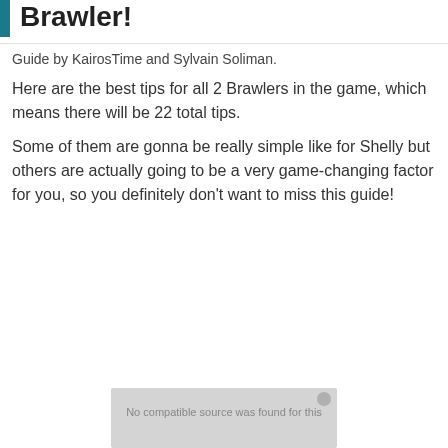Brawler!
Guide by KairosTime and Sylvain Soliman.
Here are the best tips for all 2 Brawlers in the game, which means there will be 22 total tips.
Some of them are gonna be really simple like for Shelly but others are actually going to be a very game-changing factor for you, so you definitely don’t want to miss this guide!
[Figure (screenshot): Video player placeholder showing 'No compatible source was found for this']